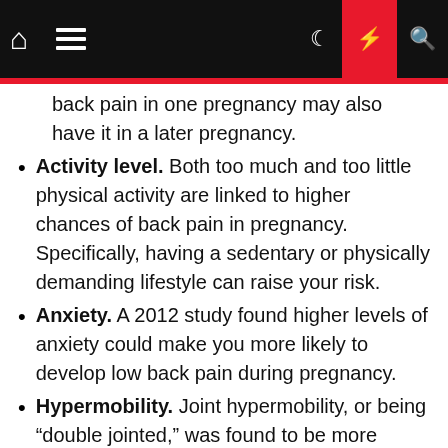Navigation bar with home, menu, moon, lightning, and search icons
back pain in one pregnancy may also have it in a later pregnancy.
Activity level. Both too much and too little physical activity are linked to higher chances of back pain in pregnancy. Specifically, having a sedentary or physically demanding lifestyle can raise your risk.
Anxiety. A 2012 study found higher levels of anxiety could make you more likely to develop low back pain during pregnancy.
Hypermobility. Joint hypermobility, or being “double jointed,” was found to be more common in people with pregnancy-related back pain in a 2006 study.